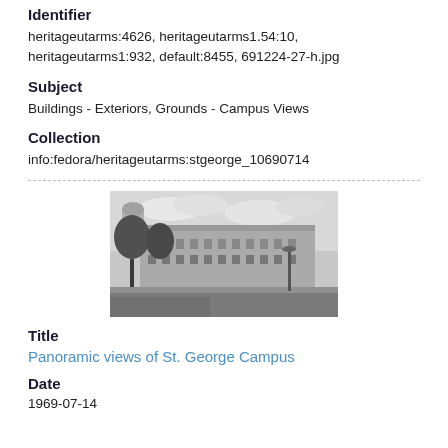Identifier
heritageutarms:4626, heritageutarms1.54:10, heritageutarms1:932, default:8455, 691224-27-h.jpg
Subject
Buildings - Exteriors, Grounds - Campus Views
Collection
info:fedora/heritageutarms:stgeorge_10690714
[Figure (photo): Black and white panoramic photograph of a large university building with trees in the foreground, lamp post visible, and cloudy sky.]
Title
Panoramic views of St. George Campus
Date
1969-07-14